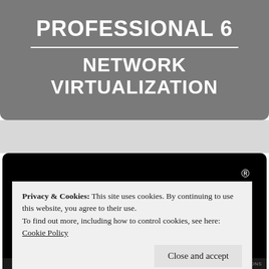PROFESSIONAL 6
NETWORK VIRTUALIZATION
[Figure (logo): VMware logo in white text on black background]
Privacy & Cookies: This site uses cookies. By continuing to use this website, you agree to their use.
To find out more, including how to control cookies, see here: Cookie Policy
Close and accept